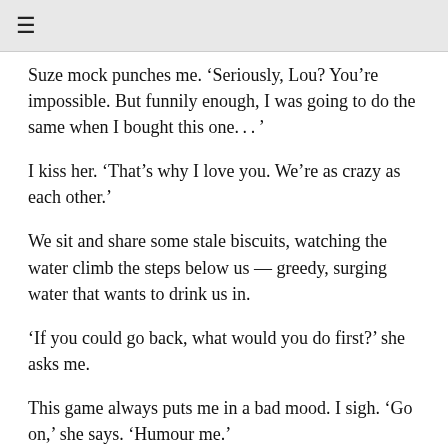≡
Suze mock punches me. ‘Seriously, Lou? You’re impossible. But funnily enough, I was going to do the same when I bought this one. . . ’
I kiss her. ‘That’s why I love you. We’re as crazy as each other.’
We sit and share some stale biscuits, watching the water climb the steps below us — greedy, surging water that wants to drink us in.
‘If you could go back, what would you do first?’ she asks me.
This game always puts me in a bad mood. I sigh. ‘Go on,’ she says. ‘Humour me.’
‘I’d give our grandparents a bollocking for doing nothing to stop all this,’ I say, as I always do, gesturing at the